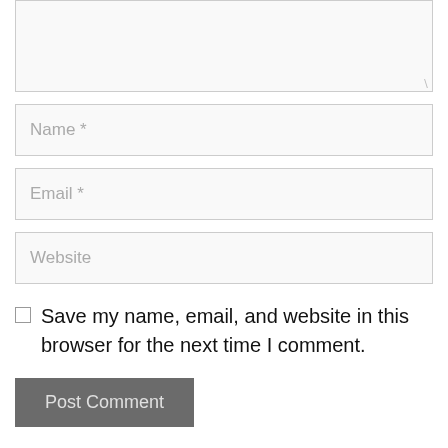[Figure (screenshot): Comment form textarea (empty, with resize handle at bottom right)]
Name *
Email *
Website
Save my name, email, and website in this browser for the next time I comment.
Post Comment